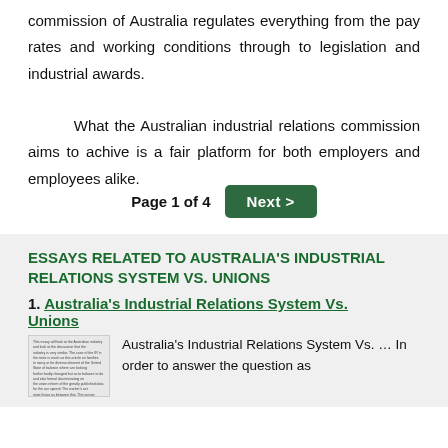commission of Australia regulates everything from the pay rates and working conditions through to legislation and industrial awards.

What the Australian industrial relations commission aims to achive is a fair platform for both employers and employees alike.
Page 1 of 4   Next >
ESSAYS RELATED TO AUSTRALIA'S INDUSTRIAL RELATIONS SYSTEM VS. UNIONS
1. Australia's Industrial Relations System Vs. Unions
Australia's Industrial Relations System Vs. ... In order to answer the question as